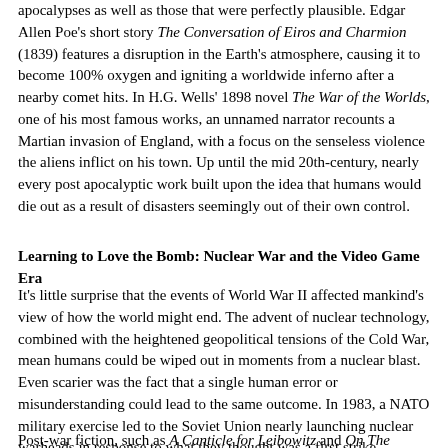apocalypses as well as those that were perfectly plausible. Edgar Allen Poe's short story The Conversation of Eiros and Charmion (1839) features a disruption in the Earth's atmosphere, causing it to become 100% oxygen and igniting a worldwide inferno after a nearby comet hits. In H.G. Wells' 1898 novel The War of the Worlds, one of his most famous works, an unnamed narrator recounts a Martian invasion of England, with a focus on the senseless violence the aliens inflict on his town. Up until the mid 20th-century, nearly every post apocalyptic work built upon the idea that humans would die out as a result of disasters seemingly out of their own control.
Learning to Love the Bomb: Nuclear War and the Video Game Era
It's little surprise that the events of World War II affected mankind's view of how the world might end. The advent of nuclear technology, combined with the heightened geopolitical tensions of the Cold War, mean humans could be wiped out in moments from a nuclear blast. Even scarier was the fact that a single human error or misunderstanding could lead to the same outcome. In 1983, a NATO military exercise led to the Soviet Union nearly launching nuclear warheads in response to what they thought was a first strike.
Post-war fiction, such as A Canticle for Leibowitz and On The